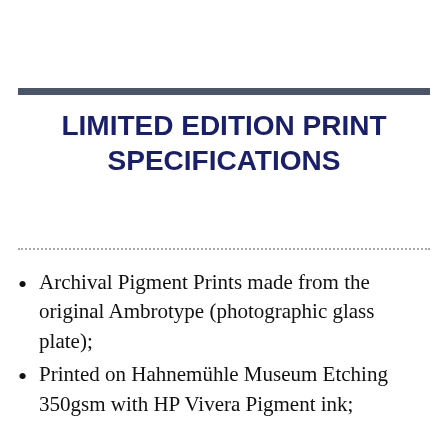LIMITED EDITION PRINT SPECIFICATIONS
Archival Pigment Prints made from the original Ambrotype (photographic glass plate);
Printed on Hahnemühle Museum Etching 350gsm with HP Vivera Pigment ink;